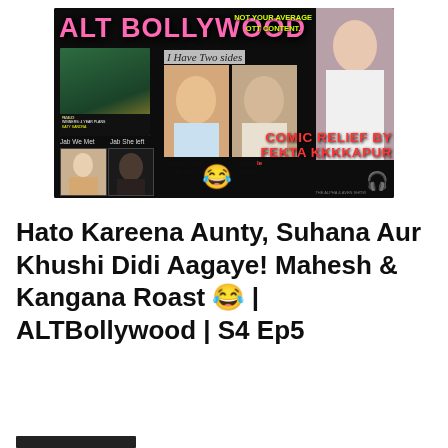[Figure (photo): ALT Bollywood podcast thumbnail collage showing Kangana Ranaut, Mahesh Babu, Shahid Kapoor, and an unidentified woman. Text overlays include 'ALT BOLLYWOOD', 'NOT YOUR AVERAGE OTT CONTENT.', 'I Have Two sides', 'Jab We Met / Jab She left', 'Unaffordable for Bollywood', 'Affordable Pan Mas.', 'COMIC RELIEF BY FEKTA KKKKAPUR', laughing emoji, and headphones icon.]
Hato Kareena Aunty, Suhana Aur Khushi Didi Aagaye! Mahesh & Kangana Roast 😂 | ALTBollywood | S4 Ep5